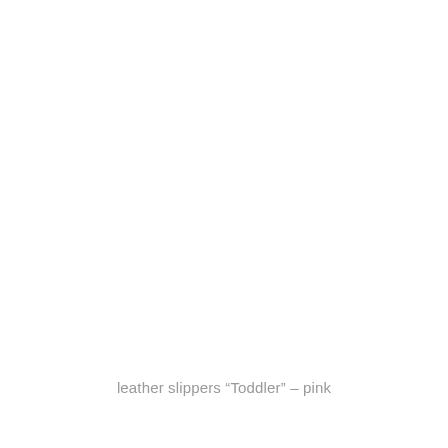leather slippers “Toddler” – pink